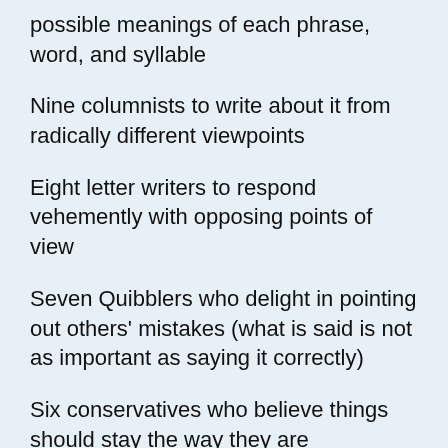possible meanings of each phrase, word, and syllable
Nine columnists to write about it from radically different viewpoints
Eight letter writers to respond vehemently with opposing points of view
Seven Quibblers who delight in pointing out others' mistakes (what is said is not as important as saying it correctly)
Six conservatives who believe things should stay the way they are
Five liberals who believe that action should be taken immediately to form a committee to study possible action